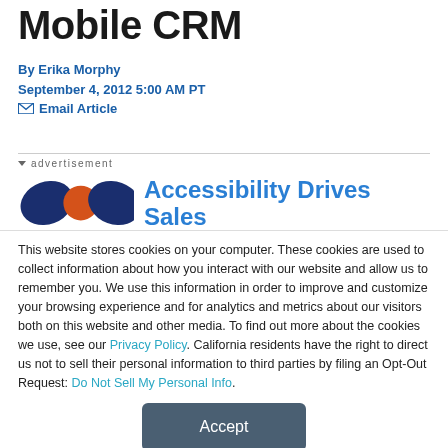Mobile CRM
By Erika Morphy
September 4, 2012 5:00 AM PT
✉ Email Article
[Figure (infographic): Advertisement banner with logo and headline 'Accessibility Drives Sales']
This website stores cookies on your computer. These cookies are used to collect information about how you interact with our website and allow us to remember you. We use this information in order to improve and customize your browsing experience and for analytics and metrics about our visitors both on this website and other media. To find out more about the cookies we use, see our Privacy Policy. California residents have the right to direct us not to sell their personal information to third parties by filing an Opt-Out Request: Do Not Sell My Personal Info.